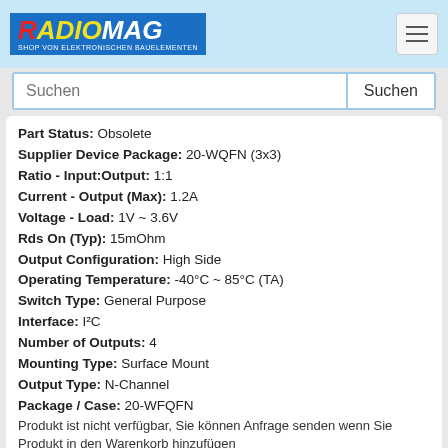[Figure (logo): RADIOMAG logo - Shop von Elektronischen Bauelementen]
Suchen
Part Status: Obsolete
Supplier Device Package: 20-WQFN (3x3)
Ratio - Input:Output: 1:1
Current - Output (Max): 1.2A
Voltage - Load: 1V ~ 3.6V
Rds On (Typ): 15mOhm
Output Configuration: High Side
Operating Temperature: -40°C ~ 85°C (TA)
Switch Type: General Purpose
Interface: I²C
Number of Outputs: 4
Mounting Type: Surface Mount
Output Type: N-Channel
Package / Case: 20-WFQFN
Produkt ist nicht verfügbar, Sie können Anfrage senden wenn Sie Produkt in den Warenkorb hinzufügen
auf Bestellung 500 Stücke - Preis und Lieferfrist anzeigen